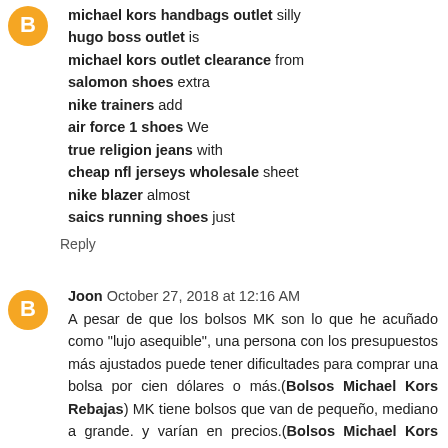michael kors handbags outlet silly hugo boss outlet is michael kors outlet clearance from salomon shoes extra nike trainers add air force 1 shoes We true religion jeans with cheap nfl jerseys wholesale sheet nike blazer almost saics running shoes just
Reply
Joon October 27, 2018 at 12:16 AM
A pesar de que los bolsos MK son lo que he acuñado como "lujo asequible", una persona con los presupuestos más ajustados puede tener dificultades para comprar una bolsa por cien dólares o más.(Bolsos Michael Kors Rebajas) MK tiene bolsos que van de pequeño, mediano a grande. y varían en precios.(Bolsos Michael Kors Baratos) Los bolsos más pequeños ni siquiera son bolsos... se llaman